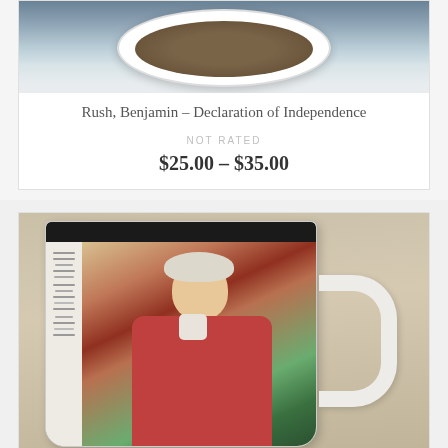[Figure (photo): Top-down view of a white bowl or mug with dark contents, on a blue-gray surface]
Rush, Benjamin – Declaration of Independence
NOT RATED
$25.00 – $35.00
[Figure (photo): A white ceramic mug with a black interior rim, featuring a portrait of Benjamin Rush in colonial-era clothing (red/pink robe, white collar) on the side, with text on the left side of the mug. The mug handle faces right.]